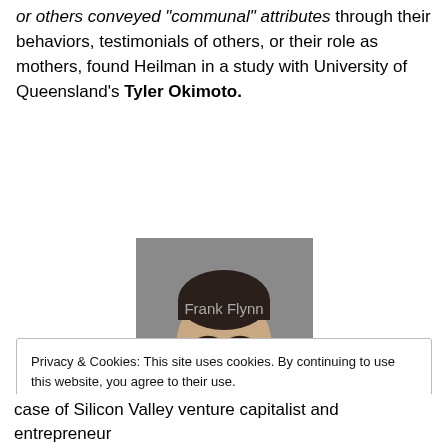or others conveyed "communal" attributes through their behaviors, testimonials of others, or their role as mothers, found Heilman in a study with University of Queensland's Tyler Okimoto.
[Figure (photo): Headshot photo of Frank Flynn, a man with short dark hair wearing a white shirt, smiling at the camera against a gray background.]
Frank Flynn
Privacy & Cookies: This site uses cookies. By continuing to use this website, you agree to their use. To find out more, including how to control cookies, see here: Cookie Policy
case of Silicon Valley venture capitalist and entrepreneur